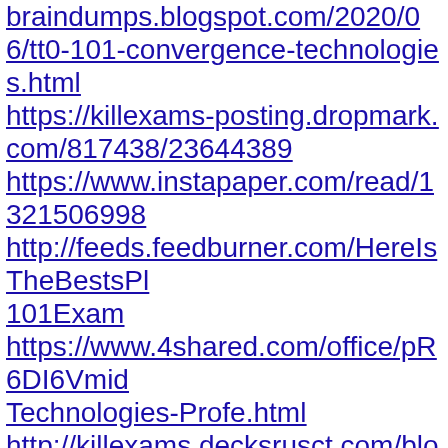braindumps.blogspot.com/2020/06/tt0-101-convergence-technologies.html
https://killexams-posting.dropmark.com/817438/23644389
https://www.instapaper.com/read/1321506998
http://feeds.feedburner.com/HereIsTheBestsPl 101Exam
https://www.4shared.com/office/pR6DI6Vmid Technologies-Profe.html
http://killexams.decksrusct.com/blog/certifica exam-dumps/tt0-101-convergence-technologies-professional-real-exam-questions-and-anstheyrs/
https://spaces.hightail.com/space/v47qz1ixkg/ 4b079309-b9db-4665-b7c5-22f1bcbab6d3/fv-fe999716-c018-4d69-9beb-2767401e5fdd/Convergence